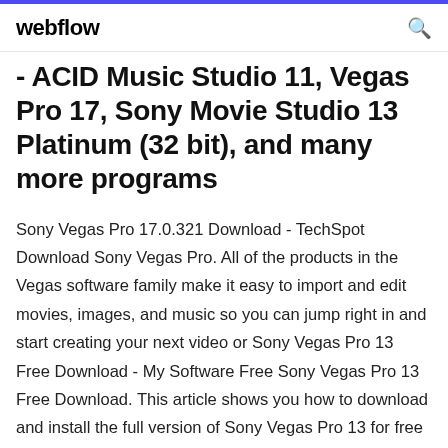webflow
- ACID Music Studio 11, Vegas Pro 17, Sony Movie Studio 13 Platinum (32 bit), and many more programs
Sony Vegas Pro 17.0.321 Download - TechSpot Download Sony Vegas Pro. All of the products in the Vegas software family make it easy to import and edit movies, images, and music so you can jump right in and start creating your next video or Sony Vegas Pro 13 Free Download - My Software Free Sony Vegas Pro 13 Free Download. This article shows you how to download and install the full version of Sony Vegas Pro 13 for free on PC. Follow the direct